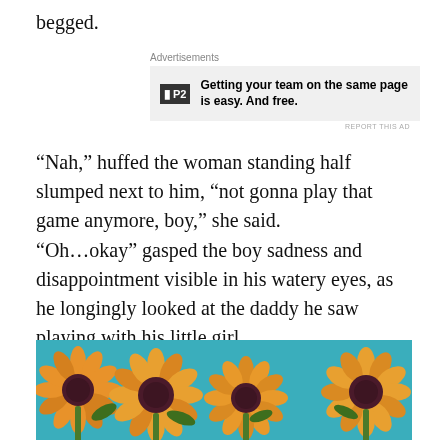begged.
[Figure (screenshot): Advertisement banner: P2 logo with text 'Getting your team on the same page is easy. And free.']
“Nah,” huffed the woman standing half slumped next to him, “not gonna play that game anymore, boy,” she said.
“Oh…okay” gasped the boy sadness and disappointment visible in his watery eyes, as he longingly looked at the daddy he saw playing with his little girl.
[Figure (illustration): Colorful painting of four sunflowers on a teal/blue background, decorative art style with vibrant orange petals and dark centers.]
There are some roles in life that no one can fill, other than